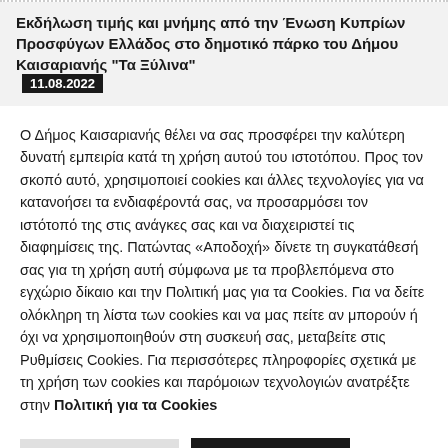Εκδήλωση τιμής και μνήμης από την Ένωση Κυπρίων Προσφύγων Ελλάδος στο δημοτικό πάρκο του Δήμου Καισαριανής "Τα Ξύλινα" 11.08.2022
Ο Δήμος Καισαριανής θέλει να σας προσφέρει την καλύτερη δυνατή εμπειρία κατά τη χρήση αυτού του ιστοτόπου. Προς τον σκοπό αυτό, χρησιμοποιεί cookies και άλλες τεχνολογίες για να κατανοήσει τα ενδιαφέροντά σας, να προσαρμόσει τον ιστότοπό της στις ανάγκες σας και να διαχειριστεί τις διαφημίσεις της. Πατώντας «Αποδοχή» δίνετε τη συγκατάθεσή σας για τη χρήση αυτή σύμφωνα με τα προβλεπόμενα στο εγχώριο δίκαιο και την Πολιτική μας για τα Cookies. Για να δείτε ολόκληρη τη λίστα των cookies και να μας πείτε αν μπορούν ή όχι να χρησιμοποιηθούν στη συσκευή σας, μεταβείτε στις Ρυθμίσεις Cookies. Για περισσότερες πληροφορίες σχετικά με τη χρήση των cookies και παρόμοιων τεχνολογιών ανατρέξτε στην Πολιτική για τα Cookies
Ρυθμίσεις Cookies
Αποδοχή Όλων